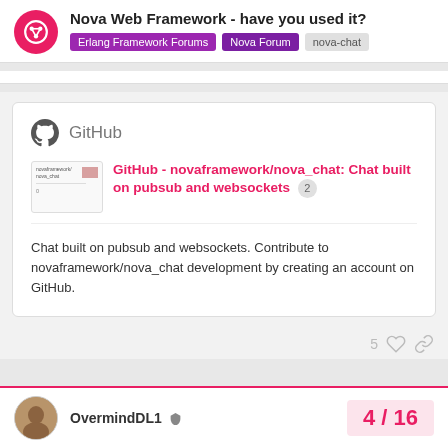Nova Web Framework - have you used it?
Erlang Framework Forums | Nova Forum | nova-chat
[Figure (screenshot): GitHub link preview card for novaframework/nova_chat repository showing 'GitHub - novaframework/nova_chat: Chat built on pubsub and websockets' with a small thumbnail image]
Chat built on pubsub and websockets. Contribute to novaframework/nova_chat development by creating an account on GitHub.
5
OvermindDL1  4 / 16